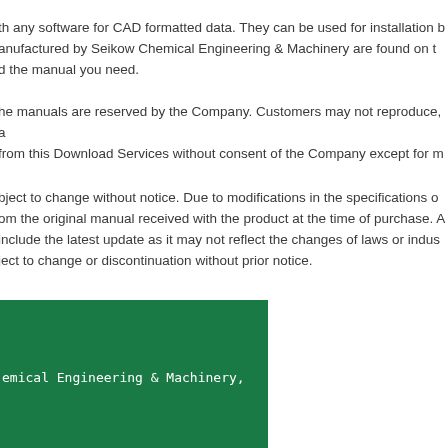th any software for CAD formatted data. They can be used for installation by manufactured by Seikow Chemical Engineering & Machinery are found on the manual you need. he manuals are reserved by the Company. Customers may not reproduce, a from this Download Services without consent of the Company except for m
bject to change without notice. Due to modifications in the specifications om the original manual received with the product at the time of purchase. A include the latest update as it may not reflect the changes of laws or indust ject to change or discontinuation without prior notice.
[Figure (other): Green rectangle box (Seikow Chemical Engineering & Machinery branding block) with white monospace text reading 'emical Engineering & Machinery,']